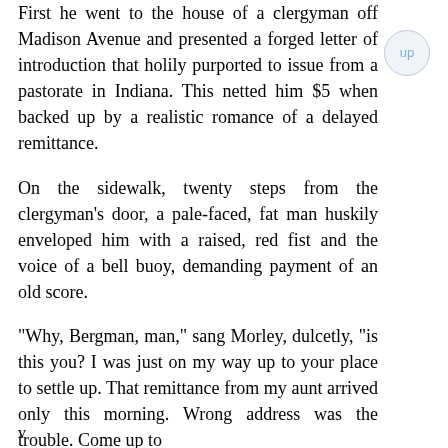First he went to the house of a clergyman off Madison Avenue and presented a forged letter of introduction that holily purported to issue from a pastorate in Indiana. This netted him $5 when backed up by a realistic romance of a delayed remittance.
On the sidewalk, twenty steps from the clergyman's door, a pale-faced, fat man huskily enveloped him with a raised, red fist and the voice of a bell buoy, demanding payment of an old score.
"Why, Bergman, man," sang Morley, dulcetly, "is this you? I was just on my way up to your place to settle up. That remittance from my aunt arrived only this morning. Wrong address was the trouble. Come up to
v